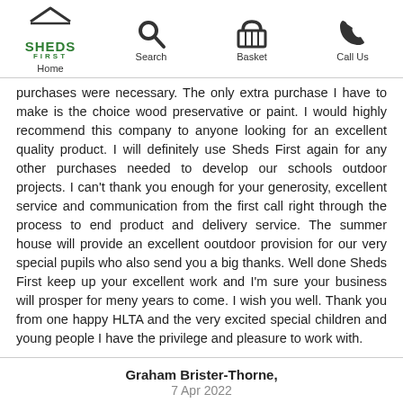Home | Search | Basket | Call Us
purchases were necessary. The only extra purchase I have to make is the choice wood preservative or paint. I would highly recommend this company to anyone looking for an excellent quality product. I will definitely use Sheds First again for any other purchases needed to develop our schools outdoor projects. I can't thank you enough for your generosity, excellent service and communication from the first call right through the process to end product and delivery service. The summer house will provide an excellent ooutdoor provision for our very special pupils who also send you a big thanks. Well done Sheds First keep up your excellent work and I'm sure your business will prosper for meny years to come. I wish you well. Thank you from one happy HLTA and the very excited special children and young people I have the privilege and pleasure to work with.
Graham Brister-Thorne, 7 Apr 2022